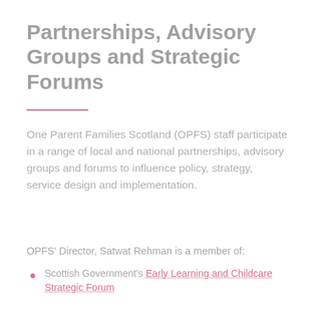Partnerships, Advisory Groups and Strategic Forums
One Parent Families Scotland (OPFS) staff participate in a range of local and national partnerships, advisory groups and forums to influence policy, strategy, service design and implementation.
OPFS' Director, Satwat Rehman is a member of:
Scottish Government's Early Learning and Childcare Strategic Forum